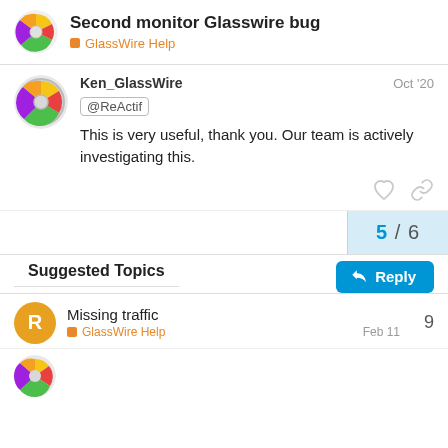Second monitor Glasswire bug
GlassWire Help
Ken_GlassWire  Oct '20
@ReActif
This is very useful, thank you. Our team is actively investigating this.
5 / 6
Reply
Suggested Topics
Missing traffic
GlassWire Help  Feb 11